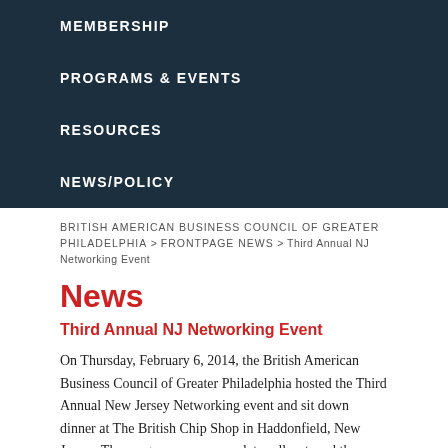MEMBERSHIP
PROGRAMS & EVENTS
RESOURCES
NEWS/POLICY
BRITISH AMERICAN BUSINESS COUNCIL OF GREATER PHILADELPHIA > FRONTPAGE NEWS > Third Annual NJ Networking Event
News
Third Annual NJ Networking Event
On Thursday, February 6, 2014, the British American Business Council of Greater Philadelphia hosted the Third Annual New Jersey Networking event and sit down dinner at The British Chip Shop in Haddonfield, New Jersey. The program was a complete sell-out, and the venue was filled to capacity with 45 BABC members and friends. Chip Shop proprietors provided attendees